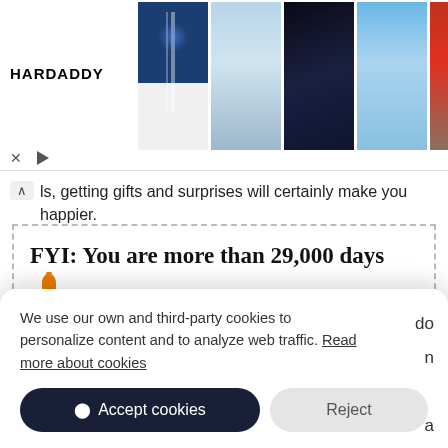[Figure (screenshot): Advertisement banner for HARDADDY showing 5 shirt product images]
ls, getting gifts and surprises will certainly make you happier.
FYI: You are more than 29,000 days old
Did you know that people born on April 7th 1941
We use our own and third-party cookies to personalize content and to analyze web traffic. Read more about cookies
Accept cookies
Reject